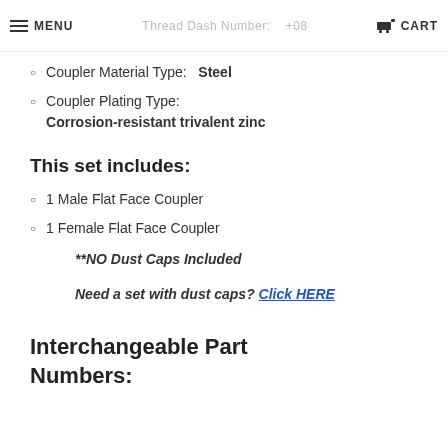MENU | Thread Dash Number: +08 | CART
Coupler Material Type: Steel
Coupler Plating Type: Corrosion-resistant trivalent zinc
This set includes:
1 Male Flat Face Coupler
1 Female Flat Face Coupler
**NO Dust Caps Included
Need a set with dust caps? Click HERE
Interchangeable Part Numbers: